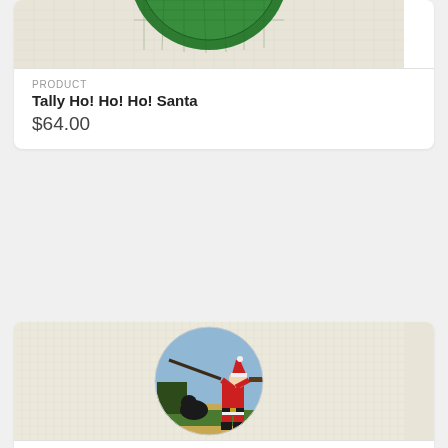[Figure (photo): Needlepoint canvas showing a circular ornament with a green design on white/cream grid background - partially visible at top of page.]
PRODUCT
Tally Ho! Ho! Ho! Santa
$64.00
[Figure (photo): Needlepoint canvas showing a circular ornament depicting Santa Claus in red suit shooting a rifle/skeet gun with a black Labrador dog sitting beside him in a field with green grass and trees in background against blue sky.]
PRODUCT
Skeet Shoot Santa